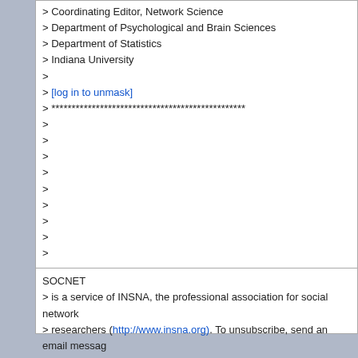> Coordinating Editor, Network Science
> Department of Psychological and Brain Sciences
> Department of Statistics
> Indiana University
>
> [log in to unmask]
> ************************************************
>
>
>
>
>
>
>
>
>
SOCNET
> is a service of INSNA, the professional association for social network
> researchers (http://www.insna.org). To unsubscribe, send an email message
> [log in to unmask] containing the line UNSUBSCRIBE SOCNET in the body of
> the message.
SOCNET is a service of INSNA, the professional association for social network researchers (http://www.insna.org). To unsubscribe, send an email message to [log in to unmask] containing the line UNSUBSCRIBE SOCNET in the body of the message.
Top of Message | Previous Page | Permalink